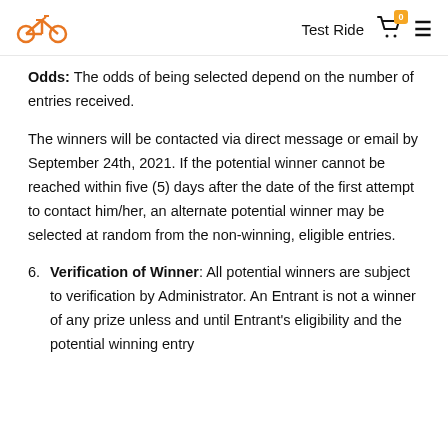Test Ride  [cart: 0]  [menu]
Odds: The odds of being selected depend on the number of entries received.
The winners will be contacted via direct message or email by September 24th, 2021. If the potential winner cannot be reached within five (5) days after the date of the first attempt to contact him/her, an alternate potential winner may be selected at random from the non-winning, eligible entries.
6. Verification of Winner: All potential winners are subject to verification by Administrator. An Entrant is not a winner of any prize unless and until Entrant's eligibility and the potential winning entry